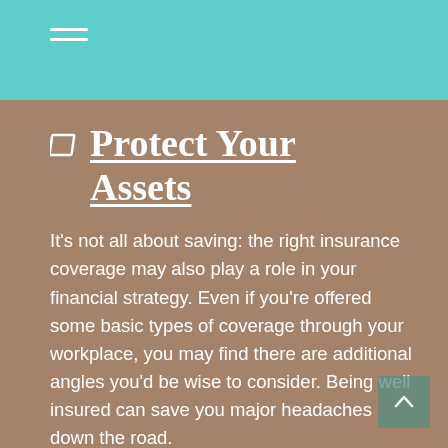[Figure (other): Hamburger menu icon (three horizontal white lines) on teal/turquoise top navigation bar]
Protect Your Assets
It's not all about saving: the right insurance coverage may also play a role in your financial strategy. Even if you're offered some basic types of coverage through your workplace, you may find there are additional angles you'd be wise to consider. Being well insured can save you major headaches down the road.